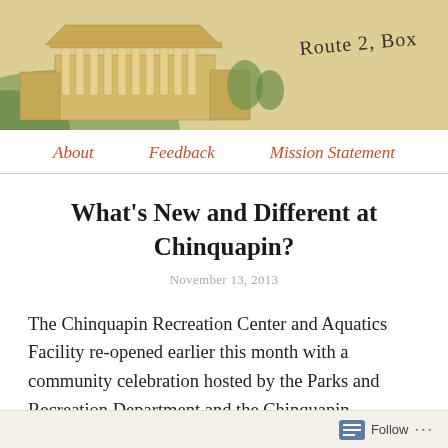[Figure (illustration): Header illustration of a classical building (Chinquapin Recreation Center) rendered in a vintage postcard style with a handwritten signature reading 'Route 2, Box' on the right side. Background has a tan/beige textured appearance.]
About   Feedback   Mission Statement
What's New and Different at Chinquapin?
November 13, 2013
The Chinquapin Recreation Center and Aquatics Facility re-opened earlier this month with a community celebration hosted by the Parks and Recreation Department and the Chinquapin Advisory Council.
Follow